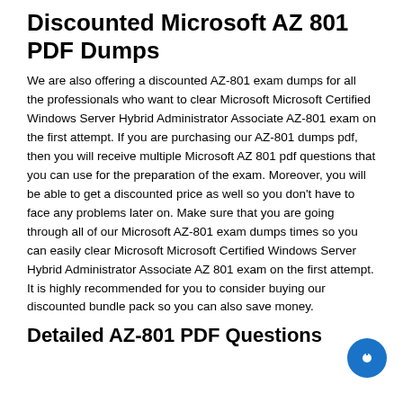Discounted Microsoft AZ 801 PDF Dumps
We are also offering a discounted AZ-801 exam dumps for all the professionals who want to clear Microsoft Microsoft Certified Windows Server Hybrid Administrator Associate AZ-801 exam on the first attempt. If you are purchasing our AZ-801 dumps pdf, then you will receive multiple Microsoft AZ 801 pdf questions that you can use for the preparation of the exam. Moreover, you will be able to get a discounted price as well so you don't have to face any problems later on. Make sure that you are going through all of our Microsoft AZ-801 exam dumps times so you can easily clear Microsoft Microsoft Certified Windows Server Hybrid Administrator Associate AZ 801 exam on the first attempt. It is highly recommended for you to consider buying our discounted bundle pack so you can also save money.
Detailed AZ-801 PDF Questions